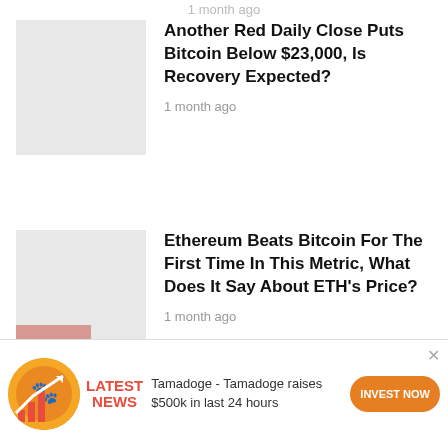1 month ago
Another Red Daily Close Puts Bitcoin Below $23,000, Is Recovery Expected?
1 month ago
Ethereum Beats Bitcoin For The First Time In This Metric, What Does It Say About ETH's Price?
1 month ago
[Figure (photo): BitStarz casino advertisement banner: 5BTC +200 FREE SPINS with CLAIM NOW button]
This website uses cookies. By continuing to use this website
[Figure (infographic): Bottom ad: Tamadoge coin icon, LATEST NEWS badge, Tamadoge - Tamadoge raises $500k in last 24 hours, INVEST NOW orange button]